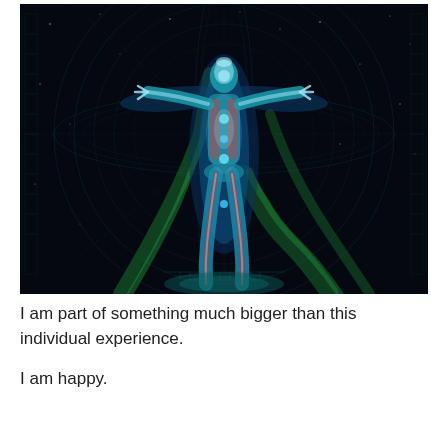[Figure (illustration): A glowing, cosmic digital artwork inspired by the Vitruvian Man. A human figure with arms outstretched stands at the center, rendered with bioluminescent blues, teals, and reds suggesting anatomy/musculature visible through translucent skin. The figure is surrounded by circular geometric patterns, grid lines, and spiral energy flows in teal/green against a deep black starry background. Green flowing ribbon-like energy streams curve around the figure.]
I am part of something much bigger than this individual experience.
I am happy.